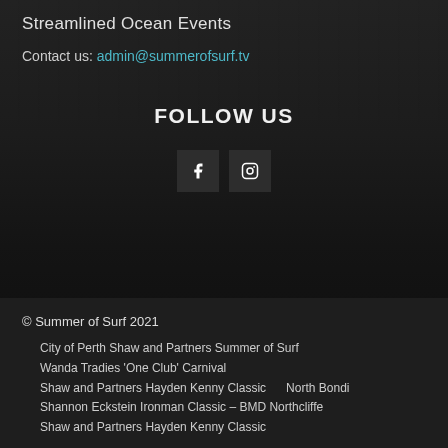Streamlined Ocean Events
Contact us: admin@summerofsurf.tv
FOLLOW US
[Figure (infographic): Two social media icon buttons: Facebook (f) and Instagram (camera icon), displayed as dark square buttons]
© Summer of Surf 2021
City of Perth Shaw and Partners Summer of Surf
Wanda Tradies 'One Club' Carnival
Shaw and Partners Hayden Kenny Classic     North Bondi
Shannon Eckstein Ironman Classic – BMD Northcliffe
Shaw and Partners Hayden Kenny Classic